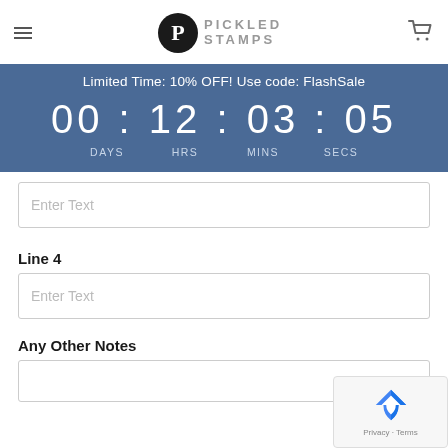Pickled Stamps
Limited Time: 10% OFF! Use code: FlashSale
00 : 12 : 03 : 05
DAYS   HRS   MINS   SECS
Enter Text
Line 4
Enter Text
Any Other Notes